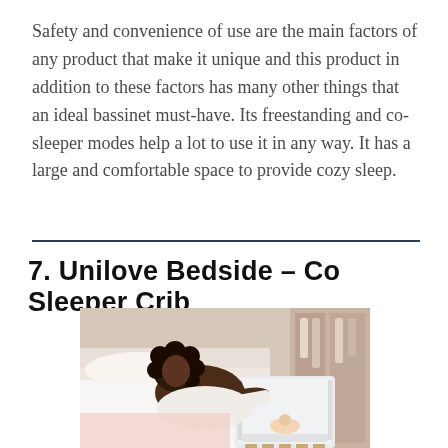Safety and convenience of use are the main factors of any product that make it unique and this product in addition to these factors has many other things that an ideal bassinet must-have. Its freestanding and co-sleeper modes help a lot to use it in any way. It has a large and comfortable space to provide cozy sleep.
7. Unilove Bedside – Co Sleeper Crib
[Figure (photo): A mother leaning over from a bed to tend to a baby in a white co-sleeper bassinet beside the bed, in a bedroom setting.]